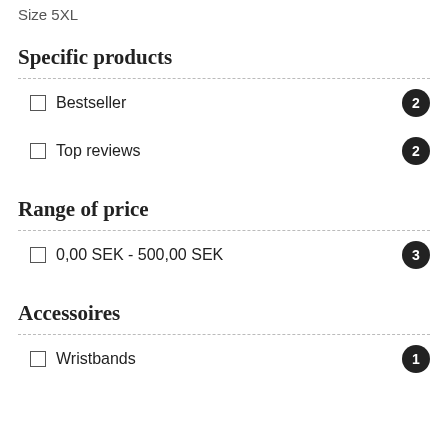Size 5XL
Specific products
Bestseller 2
Top reviews 2
Range of price
0,00 SEK - 500,00 SEK 3
Accessoires
Wristbands 1